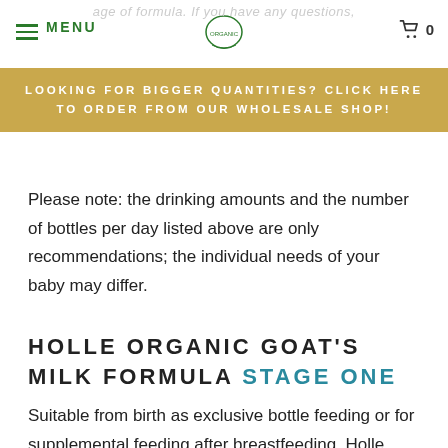MENU  [cart] 0
LOOKING FOR BIGGER QUANTITIES? CLICK HERE TO ORDER FROM OUR WHOLESALE SHOP!
Please note: the drinking amounts and the number of bottles per day listed above are only recommendations; the individual needs of your baby may differ.
HOLLE ORGANIC GOAT'S MILK FORMULA STAGE ONE
Suitable from birth as exclusive bottle feeding or for supplemental feeding after breastfeeding. Holle recommends the following water-to-powder measurements :